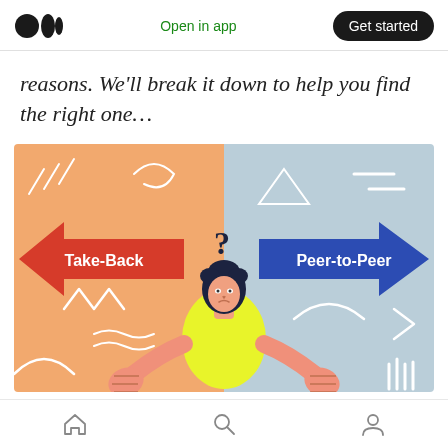Medium logo | Open in app | Get started
reasons. We'll break it down to help you find the right one…
[Figure (illustration): Illustration of a person with a question mark above their head, pointing left toward a red arrow labeled 'Take-Back' and right toward a blue arrow labeled 'Peer-to-Peer'. Background is split orange/peach on the left and light blue on the right with abstract decorative elements.]
Home | Search | Profile navigation icons